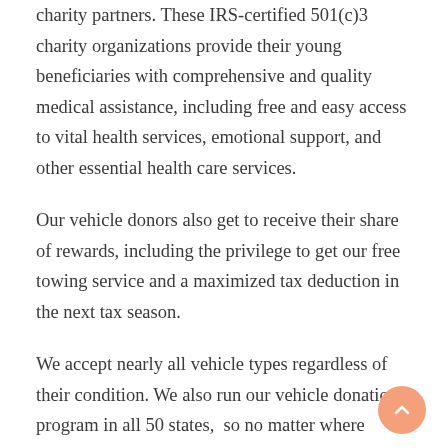charity partners. These IRS-certified 501(c)3 charity organizations provide their young beneficiaries with comprehensive and quality medical assistance, including free and easy access to vital health services, emotional support, and other essential health care services.
Our vehicle donors also get to receive their share of rewards, including the privilege to get our free towing service and a maximized tax deduction in the next tax season.
We accept nearly all vehicle types regardless of their condition. We also run our vehicle donation program in all 50 states,  so no matter where you're located, we'll be able to collect your vehicle.
If you want to know more about our program, feel free